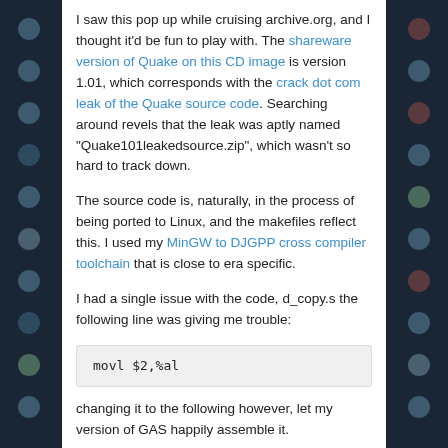I saw this pop up while cruising archive.org, and I thought it’d be fun to play with.  The shareware version of Quake on this CD image is version 1.01, which corresponds with the crack dot com leak of the Quake source code. Searching around revels that the leak was aptly named “Quake101leakedsource.zip”, which wasn’t so hard to track down.
The source code is, naturally, in the process of being ported to Linux, and the makefiles reflect this.  I used my MinGW to DJGPP cross compiler toolchain that is close to era specific.
I had a single issue with the code, d_copy.s the following line was giving me trouble:
[Figure (screenshot): Code block showing assembly instruction: movl   $2,%al]
changing it to the following however, let my version of GAS happily assemble it.